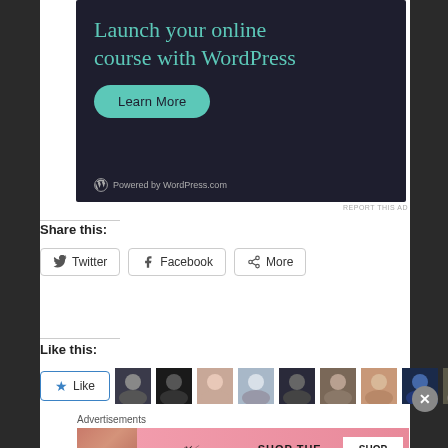[Figure (screenshot): WordPress.com advertisement banner with dark navy background. Title reads 'Launch your online course with WordPress' in teal text. Green 'Learn More' button. 'Powered by WordPress.com' footer with WordPress logo.]
REPORT THIS AD
Share this:
[Figure (screenshot): Three share buttons: Twitter, Facebook, More]
Like this:
[Figure (screenshot): Like button with blue star and row of user avatar photos]
Advertisements
[Figure (screenshot): Victoria's Secret advertisement with model photo, VS logo, 'SHOP THE COLLECTION' text, and 'SHOP NOW' button on pink background]